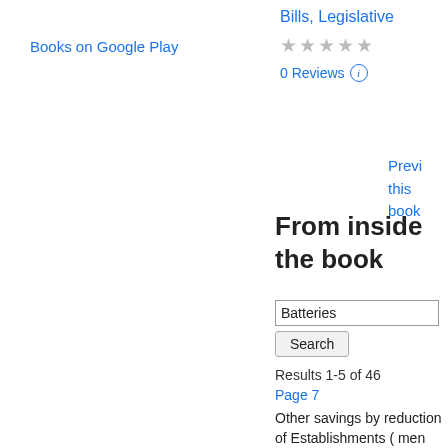Books on Google Play
Bills, Legislative
★★★★★
0 Reviews ℹ
Previ this book
From inside the book
Batteries
Search
Results 1-5 of 46
Page 7
Other savings by reduction of Establishments ( men and horses ) , partly balanced by increases under Army Re . 567,000